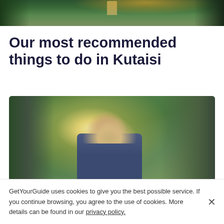[Figure (photo): Top photo showing ivy-covered building with trees]
Our most recommended things to do in Kutaisi
[Figure (photo): Woman with long blond hair looking up in a lush green canyon with turquoise water]
GetYourGuide uses cookies to give you the best possible service. If you continue browsing, you agree to the use of cookies. More details can be found in our privacy policy.